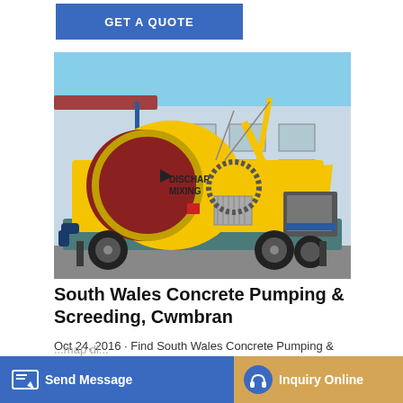GET A QUOTE
[Figure (photo): Yellow concrete mixer pump truck with large rotating drum labeled DISCHAR MIXING, parked in front of a blue and white industrial building outdoors.]
South Wales Concrete Pumping & Screeding, Cwmbran
Oct 24, 2016 · Find South Wales Concrete Pumping & Screeding in Cwmbran. Ge... map di... Concrete Pumping
Send Message
Inquiry Online